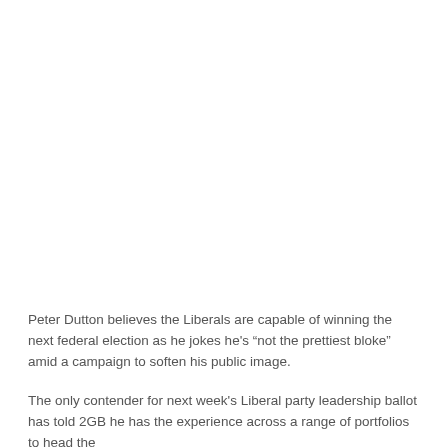[Figure (photo): Large photo placeholder occupying the top portion of the page, appears blank/white in this rendering.]
Peter Dutton believes the Liberals are capable of winning the next federal election as he jokes he’s “not the prettiest bloke” amid a campaign to soften his public image.
The only contender for next week’s Liberal party leadership ballot has told 2GB he has the experience across a range of portfolios to head the